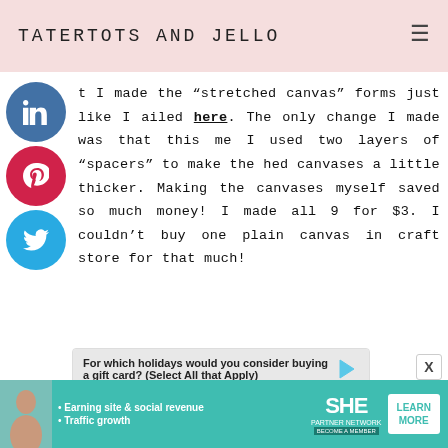TATERTOTS AND JELLO
t I made the “stretched canvas” forms just like I ailed here. The only change I made was that this me I used two layers of “spacers” to make the hed canvases a little thicker. Making the canvases myself saved so much money! I made all 9 for $3. I couldn’t buy one plain canvas in craft store for that much!
[Figure (infographic): Poll advertisement: For which holidays would you consider buying a gift card? (Select All that Apply) with Easter checkbox option]
[Figure (infographic): SHE Partner Network advertisement banner with woman photo, bullet points about earning site & social revenue and traffic growth, SHE logo, and LEARN MORE button]